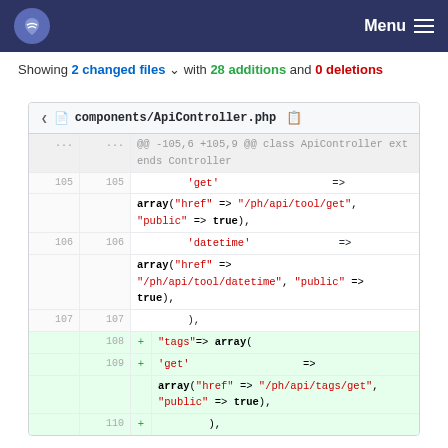Menu
Showing 2 changed files with 28 additions and 0 deletions
[Figure (screenshot): Git diff view of components/ApiController.php showing lines 105-110 with additions for tags array]
components/ApiController.php